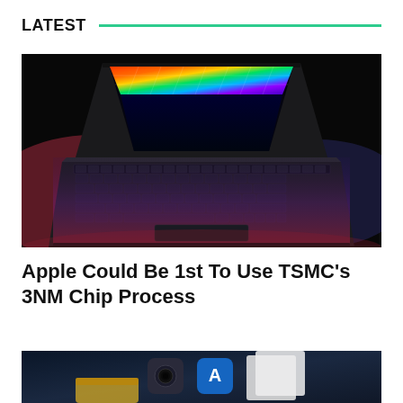LATEST
[Figure (photo): MacBook Pro laptop open with colorful display showing rainbow gradient, keyboard illuminated with colorful light, dark background]
Apple Could Be 1st To Use TSMC's 3NM Chip Process
[Figure (photo): Partial view of a tablet or phone screen showing app icons including App Store, partially cropped]